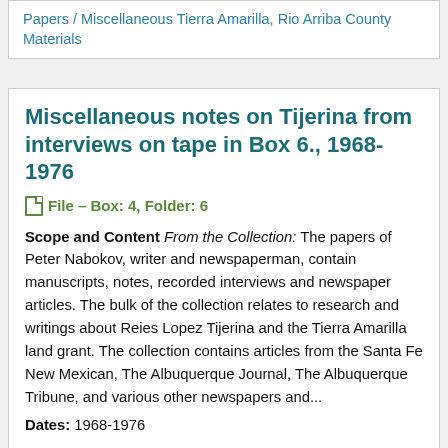Papers / Miscellaneous Tierra Amarilla, Rio Arriba County Materials
Miscellaneous notes on Tijerina from interviews on tape in Box 6., 1968-1976
File — Box: 4, Folder: 6
Scope and Content From the Collection: The papers of Peter Nabokov, writer and newspaperman, contain manuscripts, notes, recorded interviews and newspaper articles. The bulk of the collection relates to research and writings about Reies Lopez Tijerina and the Tierra Amarilla land grant. The collection contains articles from the Santa Fe New Mexican, The Albuquerque Journal, The Albuquerque Tribune, and various other newspapers and...
Dates: 1968-1976
Found in: UNM Center for Southwest Research & Special Collections / MSS-93-BC, Peter Nabokov Papers / Miscellaneous Tierra Amarilla, Rio Arriba County Materials